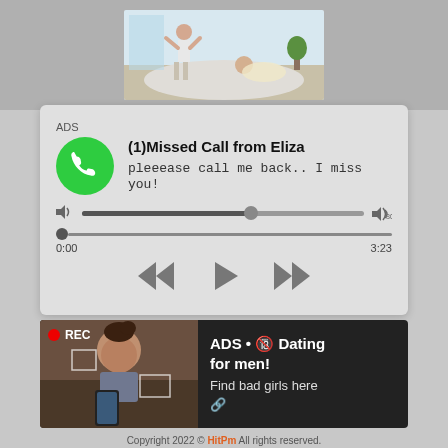[Figure (photo): Photo of two people in a bedroom scene]
[Figure (screenshot): Fake missed call ad notification with audio player. Text: ADS, (1)Missed Call from Eliza, pleeease call me back.. I miss you!, 0:00, 3:23]
[Figure (screenshot): Dark dating ad with woman taking selfie with REC indicator. Text: ADS • Dating for men! Find bad girls here]
Copyright 2022 © HitPm All rights reserved.